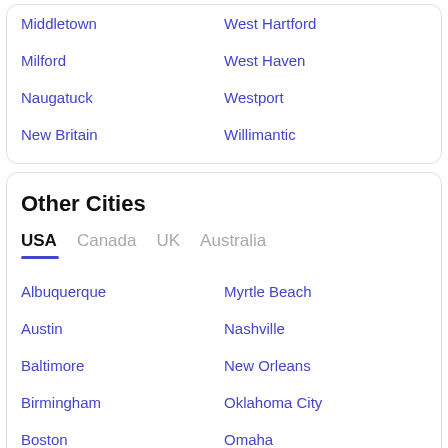Middletown
West Hartford
Milford
West Haven
Naugatuck
Westport
New Britain
Willimantic
Other Cities
USA  Canada  UK  Australia
Albuquerque
Myrtle Beach
Austin
Nashville
Baltimore
New Orleans
Birmingham
Oklahoma City
Boston
Omaha